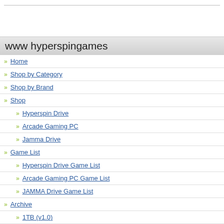www hyperspingames
Home
Shop by Category
Shop by Brand
Shop
Hyperspin Drive
Arcade Gaming PC
Jamma Drive
Game List
Hyperspin Drive Game List
Arcade Gaming PC Game List
JAMMA Drive Game List
Archive
1TB (v1.0)